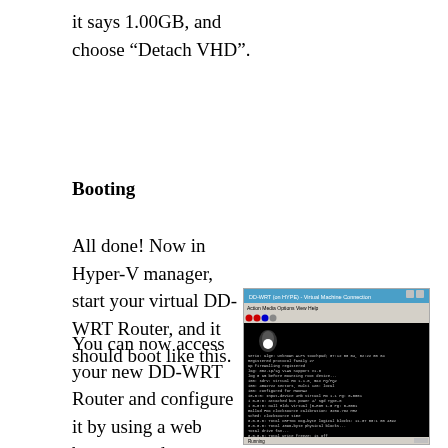it says 1.00GB, and choose “Detach VHD”.
Booting
All done! Now in Hyper-V manager, start your virtual DD-WRT Router, and it should boot like this.
[Figure (screenshot): Screenshot of DD-WRT virtual machine connection window showing boot console output with Linux kernel boot messages on a black terminal screen]
You can now access your new DD-WRT Router and configure it by using a web browser and